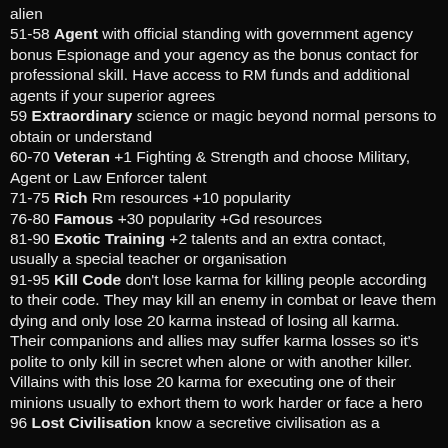alien
51-58 Agent with official standing with government agency bonus Espionage and your agency as the bonus contact for professional skill. Have access to RM funds and additional agents if your superior agrees
59 Extraordinary science or magic beyond normal persons to obtain or understand
60-70 Veteran +1 Fighting & Strength and choose Military, Agent or Law Enforcer talent
71-75 Rich Rm resources +10 popularity
76-80 Famous +30 popularity +Gd resources
81-90 Exotic Training +2 talents and an extra contact, usually a special teacher or organisation
91-95 Kill Code don't lose karma for killing people according to their code. They may kill an enemy in combat or leave them dying and only lose 20 karma instead of losing all karma. Their companions and allies may suffer karma losses so it's polite to only kill in secret when alone or with another killer. Villains with this lose 20 karma for executing one of their minions usually to exhort them to work harder or face a hero
96 Lost Civilisation know a secretive civilisation as a